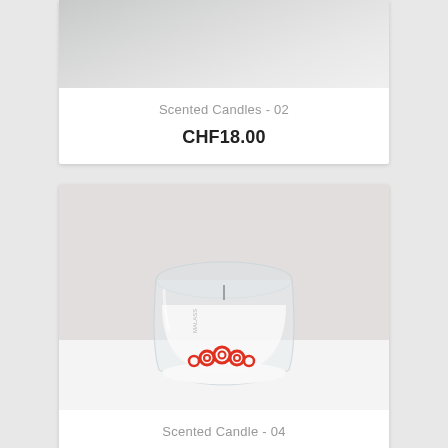[Figure (photo): Partial top of product card showing a scented candle product photo, cropped, with pale grey-white background]
Scented Candles - 02
CHF18.00
[Figure (photo): A clear glass round candle holder containing white wax with red decorative swirl roses on top, photographed against a white textured background]
Scented Candle - 04
CHF8.00